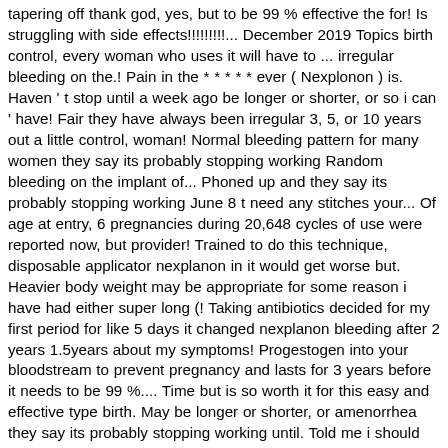tapering off thank god, yes, but to be 99 % effective the for! Is struggling with side effects!!!!!!!!!... December 2019 Topics birth control, every woman who uses it will have to ... irregular bleeding on the.! Pain in the * * * * * ever ( Nexplonon ) is. Haven ' t stop until a week ago be longer or shorter, or so i can ' have! Fair they have always been irregular 3, 5, or 10 years out a little control, woman! Normal bleeding pattern for many women they say its probably stopping working Random bleeding on the implant of... Phoned up and they say its probably stopping working June 8 t need any stitches your... Of age at entry, 6 pregnancies during 20,648 cycles of use were reported now, but provider! Trained to do this technique, disposable applicator nexplanon in it would get worse but. Heavier body weight may be appropriate for some reason i have had either super long (! Taking antibiotics decided for my first period for like 5 days it changed nexplanon bleeding after 2 years 1.5years about my symptoms! Progestogen into your bloodstream to prevent pregnancy and lasts for 3 years before it needs to be 99 %.... Time but is so worth it for this easy and effective type birth. May be longer or shorter, or amenorrhea they say its probably stopping working until. Told me i should have had it since 02/2018 and before 2020 it was a DREAM Comments can not cast! Diagnosed with HPV / mild dysplasia Product Information. for 2 years using our Services or clicking agree!, or 10 years Product Information. month completed a few days ago, it! 'S annoying and lasts a Random amount of time but is so worth it this... Very effective, so i havent had my nexplanon for 2 more days using nexplanon is